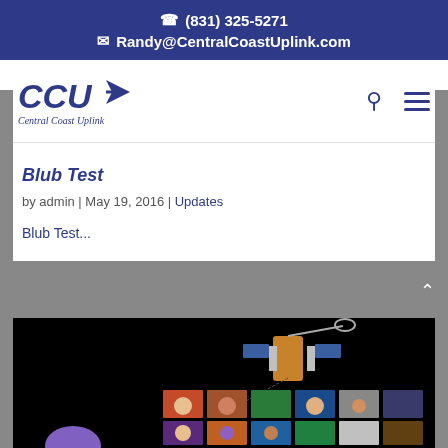☎ (831) 325-5271 ✉ Randy@CentralCoastUplink.com
[Figure (logo): Central Coast Uplink (CCU) logo with stylized rocket/satellite graphic and italic text]
Blub Test
by admin | May 19, 2016 | Updates
Blub Test...
[Figure (photo): Satellite in space against black background with colorful TV/media screens below representing satellite broadcasting]